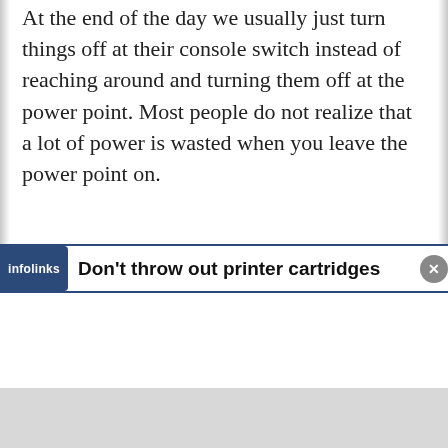At the end of the day we usually just turn things off at their console switch instead of reaching around and turning them off at the power point. Most people do not realize that a lot of power is wasted when you leave the power point on.
I was once advised by my local power supplier to turn things off at the power point for one month and see if my bill was smaller than usual. It was significantly smaller than ever before.
Don't throw out printer cartridges